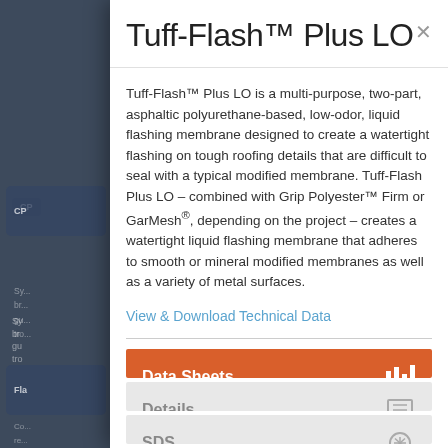Tuff-Flash™ Plus LO
Tuff-Flash™ Plus LO is a multi-purpose, two-part, asphaltic polyurethane-based, low-odor, liquid flashing membrane designed to create a watertight flashing on tough roofing details that are difficult to seal with a typical modified membrane. Tuff-Flash Plus LO – combined with Grip Polyester™ Firm or GarMesh®, depending on the project – creates a watertight liquid flashing membrane that adheres to smooth or mineral modified membranes as well as a variety of metal surfaces.
View & Download Technical Data
Data Sheets
Details
SDS